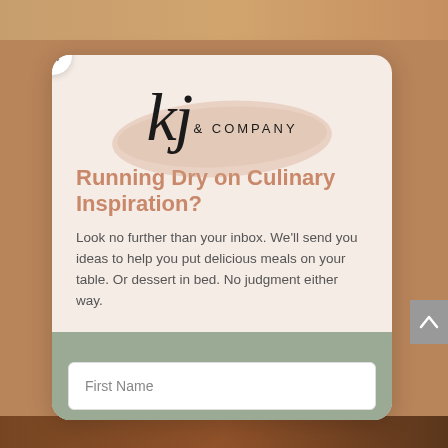[Figure (screenshot): Website popup modal with close button (×), KJ & Company logo with brush stroke background, headline 'Running Dry on Culinary Inspiration?', body text about email newsletter, sage green footer section, and First Name input field.]
kj & COMPANY
Running Dry on Culinary Inspiration?
Look no further than your inbox. We'll send you ideas to help you put delicious meals on your table. Or dessert in bed. No judgment either way.
First Name